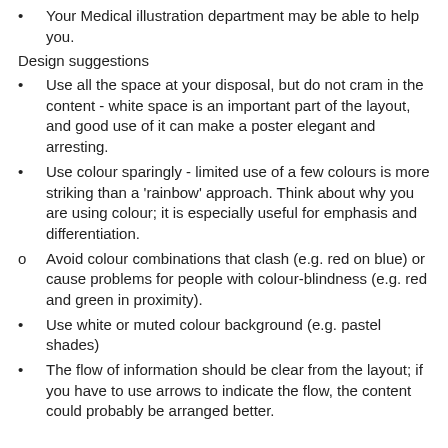Your Medical illustration department may be able to help you.
Design suggestions
Use all the space at your disposal, but do not cram in the content - white space is an important part of the layout, and good use of it can make a poster elegant and arresting.
Use colour sparingly - limited use of a few colours is more striking than a 'rainbow' approach. Think about why you are using colour; it is especially useful for emphasis and differentiation.
Avoid colour combinations that clash (e.g. red on blue) or cause problems for people with colour-blindness (e.g. red and green in proximity).
Use white or muted colour background (e.g. pastel shades)
The flow of information should be clear from the layout; if you have to use arrows to indicate the flow, the content could probably be arranged better.